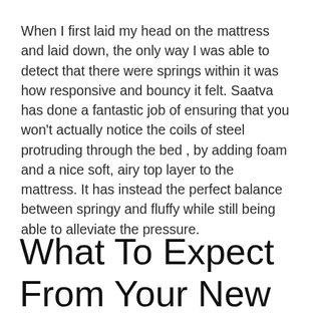When I first laid my head on the mattress and laid down, the only way I was able to detect that there were springs within it was how responsive and bouncy it felt. Saatva has done a fantastic job of ensuring that you won't actually notice the coils of steel protruding through the bed , by adding foam and a nice soft, airy top layer to the mattress. It has instead the perfect balance between springy and fluffy while still being able to alleviate the pressure.
What To Expect From Your New Saatva